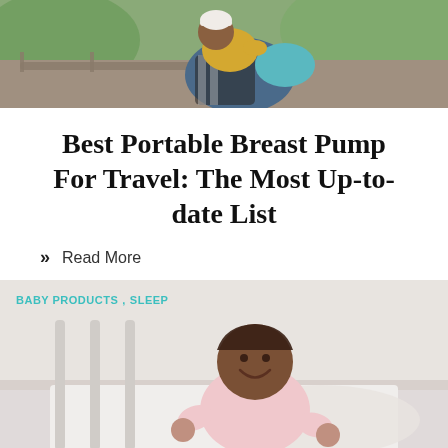[Figure (photo): Woman holding a baby outdoors on a bench, baby wearing yellow clothing and white hat]
Best Portable Breast Pump For Travel: The Most Up-to-date List
» Read More
[Figure (photo): Baby in a white crib, smiling, wearing pink outfit. Category tags: BABY PRODUCTS, SLEEP]
SNOO Vs HALO Vs MamaRoo – Which